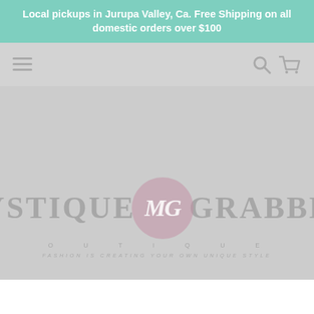Local pickups in Jurupa Valley, Ca. Free Shipping on all domestic orders over $100
[Figure (screenshot): Website navigation bar with hamburger menu icon on left and search/cart icons on right, on a light gray background]
[Figure (logo): Mystique Grabber Boutique logo with pink circle monogram MG in center, text 'MYSTIQUE GRABBER BOUTIQUE' and tagline 'FASHION IS CREATING YOUR OWN UNIQUE STYLE' on gray background]